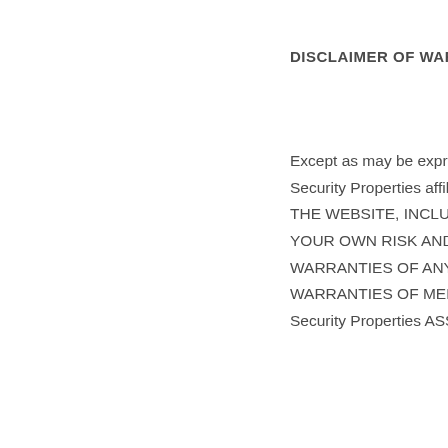DISCLAIMER OF WARRANTIES
Except as may be expressly set forth otherwise in a written agreement between you and Security Properties or a Security Properties affiliate, Security Properties has no special relationship with or fiduciary duty to you. ALL USE OF THE WEBSITE, INCLUDING WITHOUT LIMITATION MATERIALS AND THIRD PARTY CONTENT SHALL BE AT YOUR OWN RISK AND ALL OF THE FOREGOING ARE PROVIDED ON AN “AS IS” BASIS WITHOUT WARRANTIES OF ANY KIND, EITHER EXPRESS OR IMPLIED, INCLUDING WITHOUT LIMITATION, IMPLIED WARRANTIES OF MERCHANTABILITY, FITNESS FOR A PARTICULAR PURPOSE OR NON-INFRINGEMENT. Security Properties ASSUMES NO LIABILITY OR RESPONSIBILITY FOR ANY (i) ERRORS, MISTAKES,